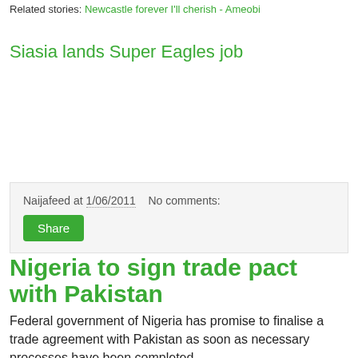Related stories: Newcastle forever I'll cherish - Ameobi
Siasia lands Super Eagles job
Naijafeed at 1/06/2011   No comments:
Nigeria to sign trade pact with Pakistan
Federal government of Nigeria has promise to finalise a trade agreement with Pakistan as soon as necessary processes have been completed.